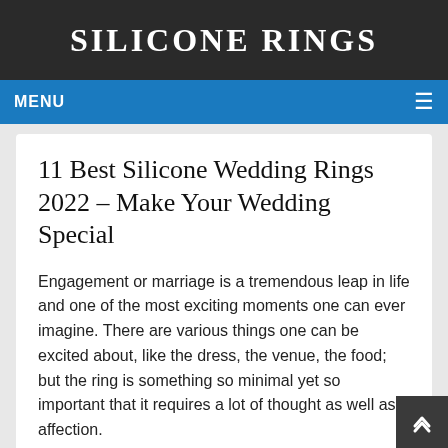SILICONE RINGS
MENU
11 Best Silicone Wedding Rings 2022 – Make Your Wedding Special
Engagement or marriage is a tremendous leap in life and one of the most exciting moments one can ever imagine. There are various things one can be excited about, like the dress, the venue, the food; but the ring is something so minimal yet so important that it requires a lot of thought as well as affection.